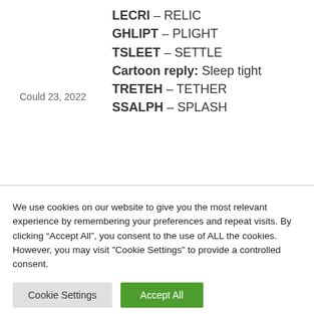LECRI – RELIC
Could 23, 2022
GHLIPT – PLIGHT
TSLEET – SETTLE
Cartoon reply: Sleep tight
TRETEH – TETHER
SSALPH – SPLASH
We use cookies on our website to give you the most relevant experience by remembering your preferences and repeat visits. By clicking “Accept All”, you consent to the use of ALL the cookies. However, you may visit "Cookie Settings" to provide a controlled consent.